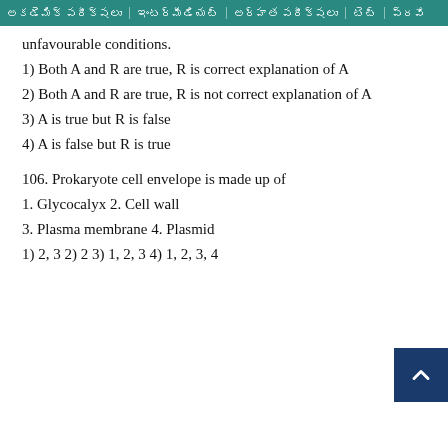అకడెమిక్ పరీక్షలు | ఇంటర్మీడియట్ | అర్హత పరీక్షలు | టెట్ | ప్రవే
unfavourable conditions.
1) Both A and R are true, R is correct explanation of A
2) Both A and R are true, R is not correct explanation of A
3) A is true but R is false
4) A is false but R is true
106. Prokaryote cell envelope is made up of
1. Glycocalyx 2. Cell wall
3. Plasma membrane 4. Plasmid
1) 2, 3 2) 2 3) 1, 2, 3 4) 1, 2, 3, 4